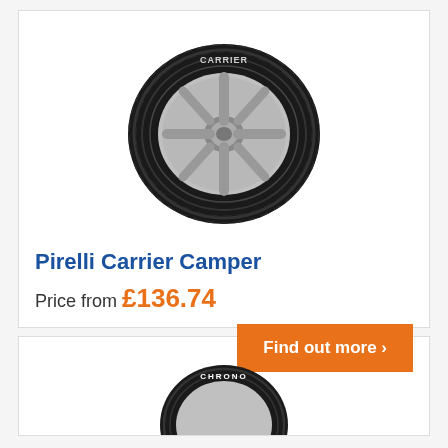[Figure (photo): Pirelli Carrier Camper tyre product image showing a tyre with silver alloy wheel rim, viewed at a slight angle. The tyre has 'CARRIER' text on the sidewall.]
Pirelli Carrier Camper
Price from £136.74
Find out more >
[Figure (photo): Partial view of a second tyre product at the bottom of the page, showing the top portion of a tyre with white lettering on the sidewall.]